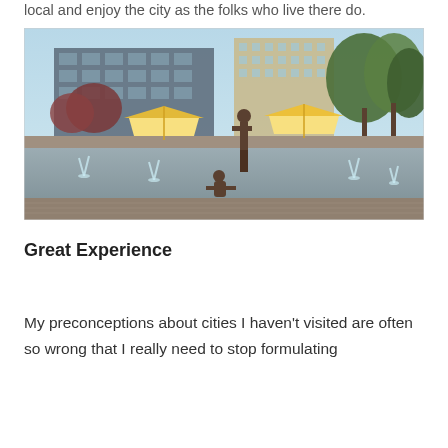local and enjoy the city as the folks who live there do.
[Figure (photo): Outdoor urban plaza with bronze child statues playing near a fountain, yellow-and-white striped market tents in background, modern office buildings behind, trees on right side.]
Great Experience
My preconceptions about cities I haven't visited are often so wrong that I really need to stop formulating